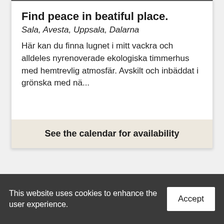Find peace in beatiful place.
Sala, Avesta, Uppsala, Dalarna
Här kan du finna lugnet i mitt vackra och alldeles nyrenoverade ekologiska timmerhus med hemtrevlig atmosfär. Avskilt och inbäddat i grönska med nä...
See the calendar for availability
[Figure (other): Dark section showing a rating badge with star icon showing '5 (4)' and a superhost badge with letter S and yellow/blue ribbon]
This website uses cookies to enhance the user experience.
Accept